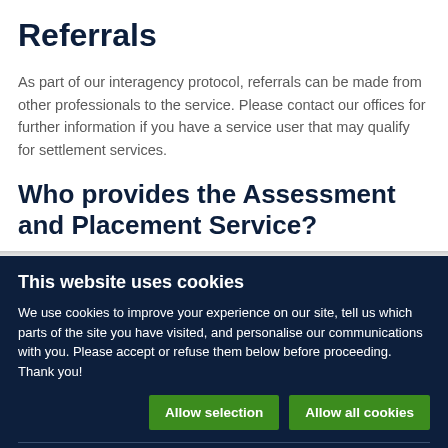Referrals
As part of our interagency protocol, referrals can be made from other professionals to the service. Please contact our offices for further information if you have a service user that may qualify for settlement services.
Who provides the Assessment and Placement Service?
This website uses cookies
We use cookies to improve your experience on our site, tell us which parts of the site you have visited, and personalise our communications with you. Please accept or refuse them below before proceeding. Thank you!
Allow selection | Allow all cookies
Necessary | Preferences | Statistics | Marketing | Show details